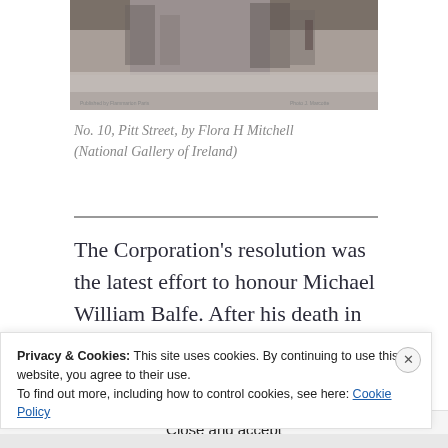[Figure (photo): A painting or print showing a street scene, likely Pitt Street, with muted gray-brown tones. Small text visible at bottom left and right corners of the image.]
No. 10, Pitt Street, by Flora H Mitchell (National Gallery of Ireland)
The Corporation’s resolution was the latest effort to honour Michael William Balfe. After his death in 1870, there appears to have been a flurry of activity.
Privacy & Cookies: This site uses cookies. By continuing to use this website, you agree to their use.
To find out more, including how to control cookies, see here: Cookie Policy
Close and accept